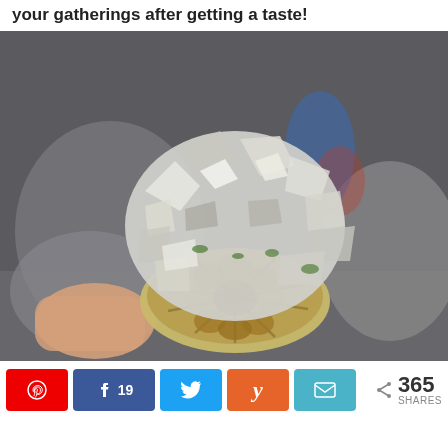your gatherings after getting a taste!
[Figure (photo): A hand holding a roasted garlic bulb wrapped in aluminum foil with the bottom exposed showing the golden roasted garlic cloves, with blurred kitchen items in the background.]
Share buttons: Pinterest, Facebook (19), Twitter, Yummly, Email — 365 SHARES